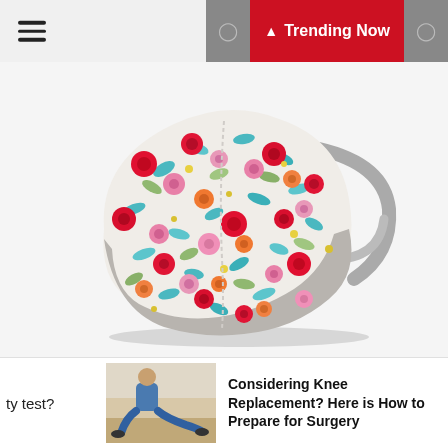Trending Now
[Figure (photo): A floral patterned face mask with gray ear loops, featuring colorful small flowers in red, pink, orange, teal, and yellow on a white background.]
ty test?
[Figure (photo): Thumbnail image of a person doing knee exercises on the floor.]
Considering Knee Replacement? Here is How to Prepare for Surgery